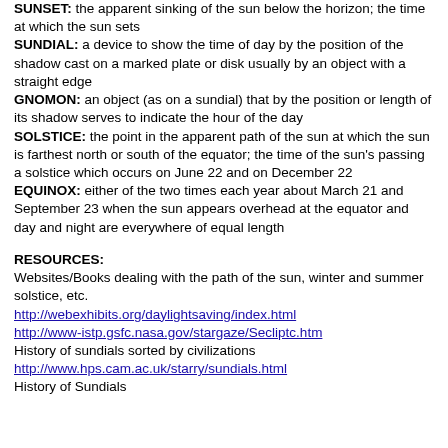SUNSET: the apparent sinking of the sun below the horizon; the time at which the sun sets
SUNDIAL: a device to show the time of day by the position of the shadow cast on a marked plate or disk usually by an object with a straight edge
GNOMON: an object (as on a sundial) that by the position or length of its shadow serves to indicate the hour of the day
SOLSTICE: the point in the apparent path of the sun at which the sun is farthest north or south of the equator; the time of the sun's passing a solstice which occurs on June 22 and on December 22
EQUINOX: either of the two times each year about March 21 and September 23 when the sun appears overhead at the equator and day and night are everywhere of equal length
RESOURCES:
Websites/Books dealing with the path of the sun, winter and summer solstice, etc.
http://webexhibits.org/daylightsaving/index.html
http://www-istp.gsfc.nasa.gov/stargaze/Secliptc.htm
History of sundials sorted by civilizations
http://www.hps.cam.ac.uk/starry/sundials.html
History of Sundials